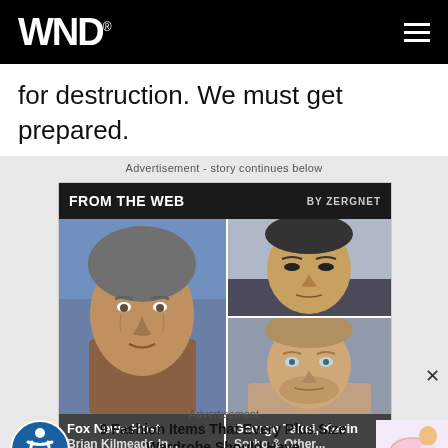WND
for destruction. We must get prepared.
Advertisement - story continues below
[Figure (other): Zergnet 'From The Web' ad widget showing two celebrity thumbnail panels: left panel shows Fox News Host Brian Kilmeade, right panel shows George Takei, Kevin Sorbo & Other]
Advertisement
9 Fashion Items That Every Plus Size Wardrobe Should Have
Herbeauty